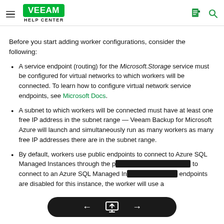Veeam Help Center
Before you start adding worker configurations, consider the following:
A service endpoint (routing) for the Microsoft.Storage service must be configured for virtual networks to which workers will be connected. To learn how to configure virtual network service endpoints, see Microsoft Docs.
A subnet to which workers will be connected must have at least one free IP address in the subnet range — Veeam Backup for Microsoft Azure will launch and simultaneously run as many workers as many free IP addresses there are in the subnet range.
By default, workers use public endpoints to connect to Azure SQL Managed Instances through the p... to connect to an Azure SQL Managed In... endpoints are disabled for this instance, the worker will use a